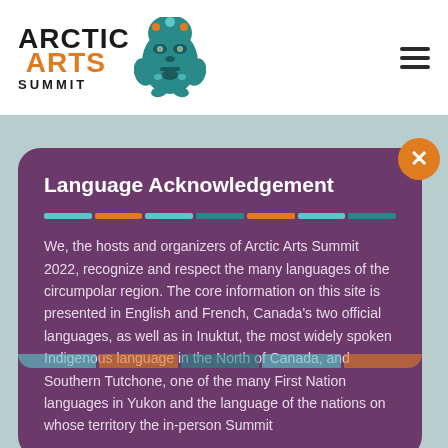[Figure (logo): Arctic Arts Summit logo with stylized totem/mask artwork in teal, green, and orange, alongside bold text 'ARCTIC ARTS SUMMIT']
Language Acknowledgement
We, the hosts and organizers of Arctic Arts Summit 2022, recognize and respect the many languages of the circumpolar region. The core information on this site is presented in English and French, Canada's two official languages, as well as in Inuktut, the most widely spoken Indigenous language in the North of Canada, and Southern Tutchone, one of the many First Nation languages in Yukon and the language of the nations on whose territory the in-person Summit